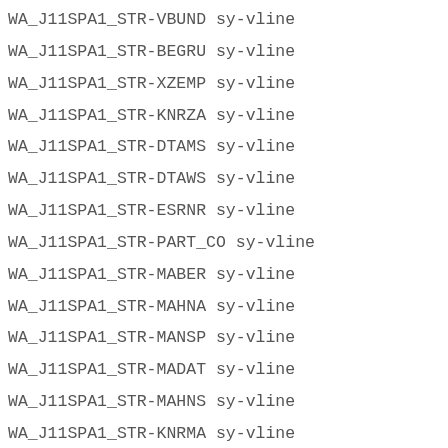WA_J11SPA1_STR-VBUND sy-vline
WA_J11SPA1_STR-BEGRU sy-vline
WA_J11SPA1_STR-XZEMP sy-vline
WA_J11SPA1_STR-KNRZA sy-vline
WA_J11SPA1_STR-DTAMS sy-vline
WA_J11SPA1_STR-DTAWS sy-vline
WA_J11SPA1_STR-ESRNR sy-vline
WA_J11SPA1_STR-PART_CO sy-vline
WA_J11SPA1_STR-MABER sy-vline
WA_J11SPA1_STR-MAHNA sy-vline
WA_J11SPA1_STR-MANSP sy-vline
WA_J11SPA1_STR-MADAT sy-vline
WA_J11SPA1_STR-MAHNS sy-vline
WA_J11SPA1_STR-KNRMA sy-vline
WA_J11SPA1_STR-GMVDT sy-vline
WA_J11SPA1_STR-BUSAB sy-vline
WA_J11SPA1_STR-MGRUP sy-vline
WA_J11SPA1_STR-DE_OATH sy-vline
WA_J11SPA1_STR-DE_OA_D sy-vline
WA_J11SPA1_STR-BANKRUP sy-vline
WA_J11SPA1_STR-BNKRY_D sy-vline
WA_J11SPA1_STR-FORECLO sy-vline